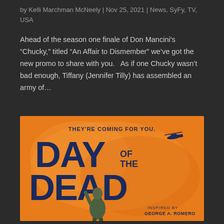by Kelli Marchman McNeely | Nov 25, 2021 | News, SyFy, TV, USA
Ahead of the season one finale of Don Mancini's “Chucky,” titled “An Affair to Dismember” we’ve got the new promo to share with you.   As if one Chucky wasn’t bad enough, Tiffany (Jennifer Tilly) has assembled an army of…
[Figure (illustration): Day of the Dead movie/show poster with orange background showing large stylized text reading DAY OF THE DEAD with tagline THEY'RE COMING FOR YOU. and INSPIRED BY GEORGE A. ROMERO at bottom right. A small helicopter silhouette visible upper right, and a zombie figure at bottom center.]